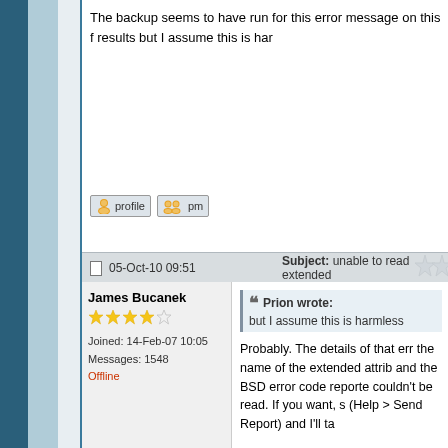The backup seems to have run for this error message on this f results but I assume this is har
05-Oct-10 09:51   Subject: unable to read extended
James Bucanek
Joined: 14-Feb-07 10:05
Messages: 1548
Offline
Prion wrote:
but I assume this is harmless
Probably. The details of that err the name of the extended attrib and the BSD error code reporte couldn't be read. If you want, s (Help > Send Report) and I'll ta

Extended attributes are usually of extra data attached to a file important, but often are not.

The reason you can't read them restriction (via an access contro